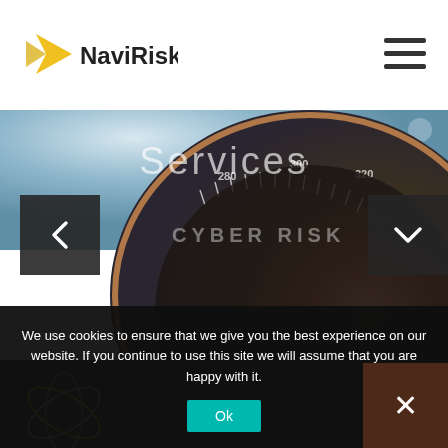[Figure (logo): NaviRisk logo with yellow arrow/chevron and dark text]
[Figure (infographic): Hamburger menu icon — three horizontal dark bars]
[Figure (photo): Hero background: close-up of a compass/gauge instrument with blue-grey and warm brown tones, partially overlaid with navigation arrows and CYBER RISK label]
Services
CYBER RISK
[Figure (illustration): Atom-like decorative icon in grey and yellow outline on dark background]
We use cookies to ensure that we give you the best experience on our website. If you continue to use this site we will assume that you are happy with it.
Ok